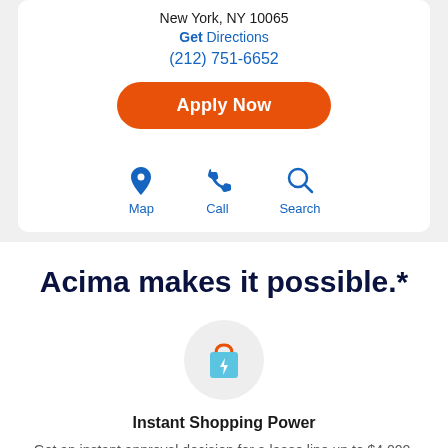New York, NY 10065
Get Directions
(212) 751-6652
Apply Now
[Figure (illustration): Three icons: map pin, phone handset, and magnifying glass, each labeled Map, Call, Search in blue]
Acima makes it possible.*
[Figure (illustration): Shopping bag icon with lightning bolt in a light gray circle]
Instant Shopping Power
Get an instant approval decision for a lease line up to $4,000.